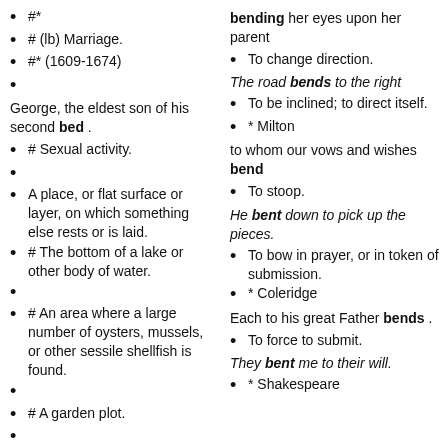#*
# (lb) Marriage.
#* (1609-1674)
George, the eldest son of his second bed .
# Sexual activity.
A place, or flat surface or layer, on which something else rests or is laid.
# The bottom of a lake or other body of water.
# An area where a large number of oysters, mussels, or other sessile shellfish is found.
# A garden plot.
bending her eyes upon her parent
To change direction.
The road bends to the right
To be inclined; to direct itself.
* Milton
to whom our vows and wishes bend
To stoop.
He bent down to pick up the pieces.
To bow in prayer, or in token of submission.
* Coleridge
Each to his great Father bends .
To force to submit.
They bent me to their will.
* Shakespeare